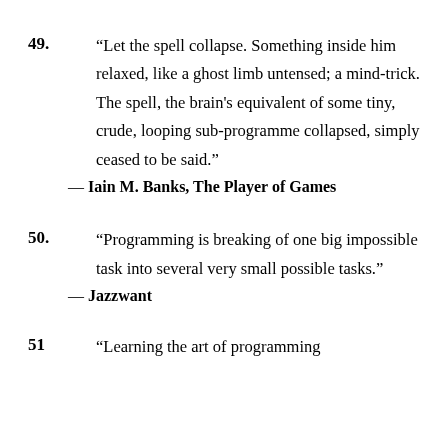49. “Let the spell collapse. Something inside him relaxed, like a ghost limb untensed; a mind-trick. The spell, the brain’s equivalent of some tiny, crude, looping sub-programme collapsed, simply ceased to be said.” — Iain M. Banks, The Player of Games
50. “Programming is breaking of one big impossible task into several very small possible tasks.” — Jazzwant
51. “Learning the art of programming